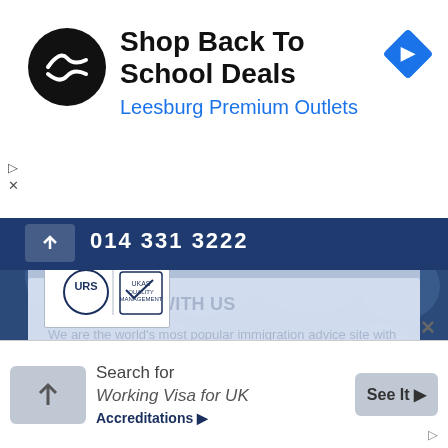[Figure (screenshot): Advertisement banner for 'Shop Back To School Deals' at Leesburg Premium Outlets, with circular black logo with white arrow icon and blue diamond navigation icon on the right]
014 331 3222
ADVERTISE WITH US
We are the world's most popular immigration advice site with millions of page views a month.
Contact us ▶
[Figure (logo): URS ISO 9001 Certified Organisation badge with UKAS Quality Management logo]
Accreditations ▶
Search for
Working Visa for UK
See It ▶